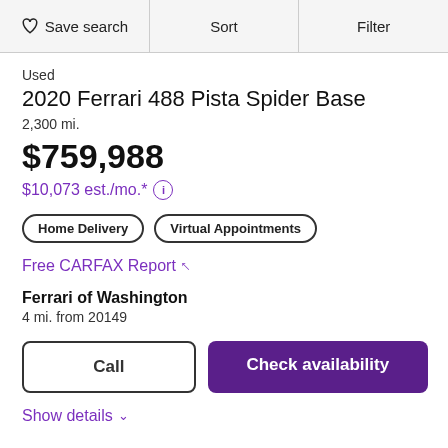♡ Save search | Sort | Filter
Used
2020 Ferrari 488 Pista Spider Base
2,300 mi.
$759,988
$10,073 est./mo.*
Home Delivery
Virtual Appointments
Free CARFAX Report ↗
Ferrari of Washington
4 mi. from 20149
Call
Check availability
Show details ∨